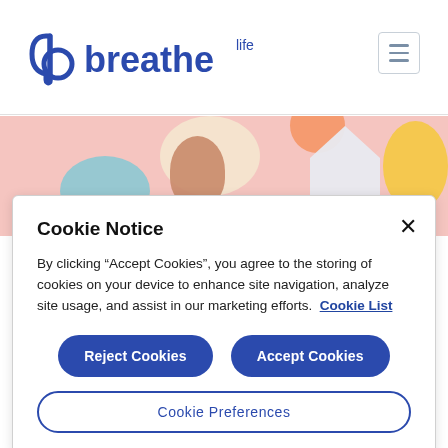[Figure (logo): Breathe Life logo with stylized 'b' icon and 'breathe life' text in blue]
[Figure (illustration): Colorful abstract illustration with pink background, cream, orange, blue, brown shapes and a house silhouette]
Cookie Notice
By clicking "Accept Cookies", you agree to the storing of cookies on your device to enhance site navigation, analyze site usage, and assist in our marketing efforts. Cookie List
Reject Cookies
Accept Cookies
Cookie Preferences